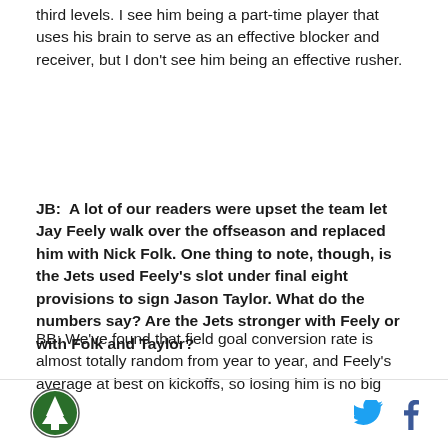third levels. I see him being a part-time player that uses his brain to serve as an effective blocker and receiver, but I don't see him being an effective rusher.
JB:  A lot of our readers were upset the team let Jay Feely walk over the offseason and replaced him with Nick Folk. One thing to note, though, is the Jets used Feely's slot under final eight provisions to sign Jason Taylor. What do the numbers say? Are the Jets stronger with Feely or with Folk and Taylor?
BB: We've found that field goal conversion rate is almost totally random from year to year, and Feely's average at best on kickoffs, so losing him is no big